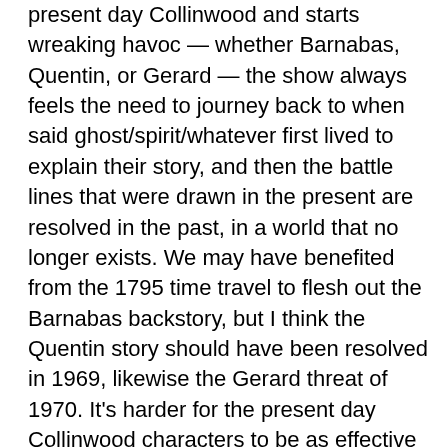present day Collinwood and starts wreaking havoc — whether Barnabas, Quentin, or Gerard — the show always feels the need to journey back to when said ghost/spirit/whatever first lived to explain their story, and then the battle lines that were drawn in the present are resolved in the past, in a world that no longer exists. We may have benefited from the 1795 time travel to flesh out the Barnabas backstory, but I think the Quentin story should have been resolved in 1969, likewise the Gerard threat of 1970. It's harder for the present day Collinwood characters to be as effective as they might have been when all the major issues affecting the present are resolved somewhere else.